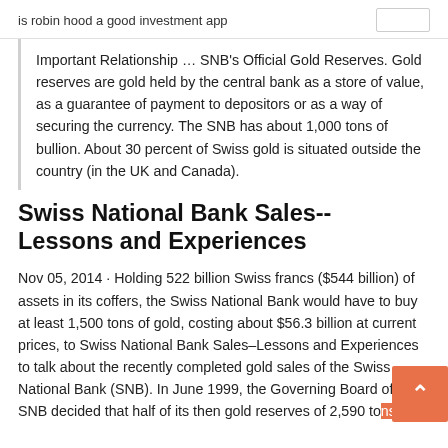is robin hood a good investment app
Important Relationship … SNB's Official Gold Reserves. Gold reserves are gold held by the central bank as a store of value, as a guarantee of payment to depositors or as a way of securing the currency. The SNB has about 1,000 tons of bullion. About 30 percent of Swiss gold is situated outside the country (in the UK and Canada).
Swiss National Bank Sales-- Lessons and Experiences
Nov 05, 2014 · Holding 522 billion Swiss francs ($544 billion) of assets in its coffers, the Swiss National Bank would have to buy at least 1,500 tons of gold, costing about $56.3 billion at current prices, to Swiss National Bank Sales--Lessons and Experiences to talk about the recently completed gold sales of the Swiss National Bank (SNB). In June 1999, the Governing Board of the SNB decided that half of its then gold reserves of 2,590 tons